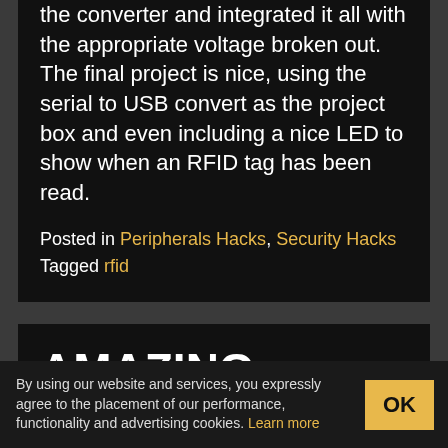the converter and integrated it all with the appropriate voltage broken out. The final project is nice, using the serial to USB convert as the project box and even including a nice LED to show when an RFID tag has been read.
Posted in Peripherals Hacks, Security Hacks Tagged rfid
AMAZING ROBOT DEXTERITY
By using our website and services, you expressly agree to the placement of our performance, functionality and advertising cookies. Learn more